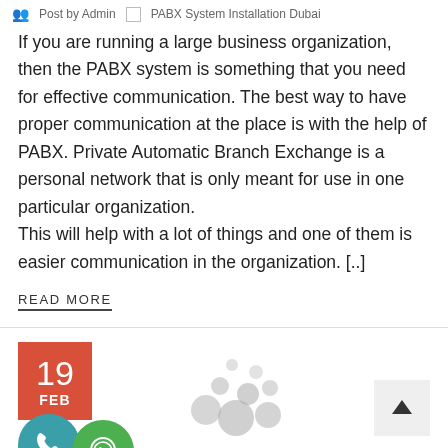Post by Admin   PABX System Installation Dubai
If you are running a large business organization, then the PABX system is something that you need for effective communication. The best way to have proper communication at the place is with the help of PABX. Private Automatic Branch Exchange is a personal network that is only meant for use in one particular organization.
This will help with a lot of things and one of them is easier communication in the organization. [..]
READ MORE
[Figure (infographic): Date badge showing '19 FEB' in red/orange background, loading dots graphic, scroll-to-top button with up arrow, teal phone icon circle, green WhatsApp icon circle]
Everything you Need to Know About